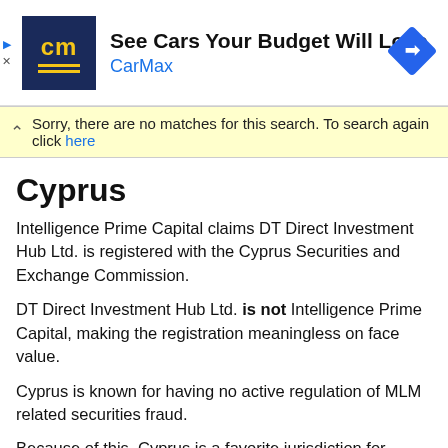[Figure (infographic): CarMax advertisement banner with dark blue logo showing 'cm' in yellow, headline 'See Cars Your Budget Will Love', brand name 'CarMax' in blue, and a blue diamond direction arrow icon on the right. Small play and X icons on the left edge.]
Sorry, there are no matches for this search. To search again click here
Cyprus
Intelligence Prime Capital claims DT Direct Investment Hub Ltd. is registered with the Cyprus Securities and Exchange Commission.
DT Direct Investment Hub Ltd. is not Intelligence Prime Capital, making the registration meaningless on face value.
Cyprus is known for having no active regulation of MLM related securities fraud.
Because of this, Cyprus is a favorite jurisdiction for